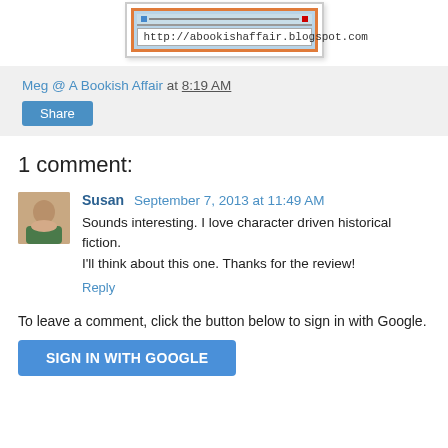[Figure (screenshot): Blog header image showing URL bar with http://abookishaffair.blogspot.com]
Meg @ A Bookish Affair at 8:19 AM
Share
1 comment:
Susan  September 7, 2013 at 11:49 AM
Sounds interesting. I love character driven historical fiction. I'll think about this one. Thanks for the review!
Reply
To leave a comment, click the button below to sign in with Google.
SIGN IN WITH GOOGLE